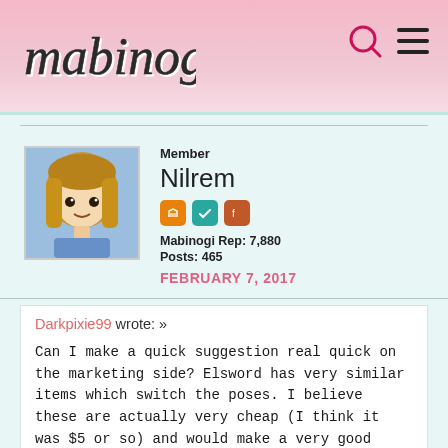mabinogi
Member
Nilrem
Mabinogi Rep: 7,880
Posts: 465
FEBRUARY 7, 2017
Darkpixie99 wrote: »

Can I make a quick suggestion real quick on the marketing side? Elsword has very similar items which switch the poses. I believe these are actually very cheap (I think it was $5 or so) and would make a very good addition as a permanent addition to the Mabinogi Cash Shop. Of course, various holiday and limited edition versions can be added as a rotational sale. It would be a terrible mistake to actually replicate the Beauty Coupon method by adding them into